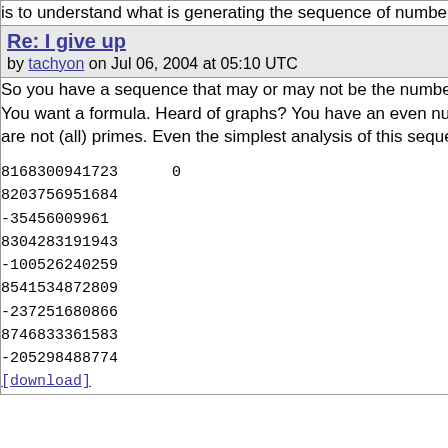is to understand what is generating the sequence of numbers.
[reply]
Re: I give up
by tachyon on Jul 06, 2004 at 05:10 UTC
So you have a sequence that may or may not be the numbers you show. You want a formula. Heard of graphs? You have an even number so they are not (all) primes. Even the simplest analysis of this sequence:
8168300941723   0
8203756951684
-35456009961
8304283191943
-100526240259
8541534872809
-237251680866
8746833361583
-205298488774
[download]